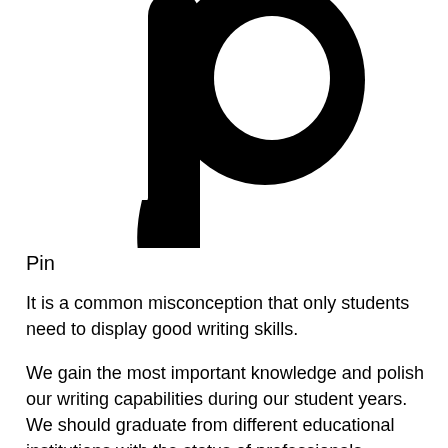[Figure (logo): Large black stylized letter 'p' or Pinterest-like logo mark, partially cropped at top, showing the curved letterform and a descending tail]
Pin
It is a common misconception that only students need to display good writing skills.
We gain the most important knowledge and polish our writing capabilities during our student years. We should graduate from different educational institutions with the status of professionals.